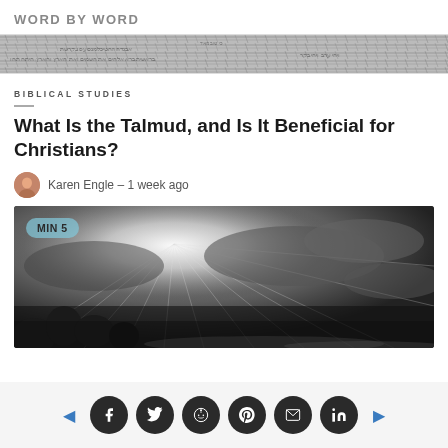WORD BY WORD
[Figure (photo): Close-up photo of ancient Hebrew/Aramaic text manuscript]
BIBLICAL STUDIES
What Is the Talmud, and Is It Beneficial for Christians?
Karen Engle  –  1 week ago
[Figure (photo): Grayscale dramatic illustration of divine light rays streaming through clouds over a landscape, with MIN 5 badge]
Social sharing icons: Facebook, Twitter, Reddit, Pinterest, Email, LinkedIn